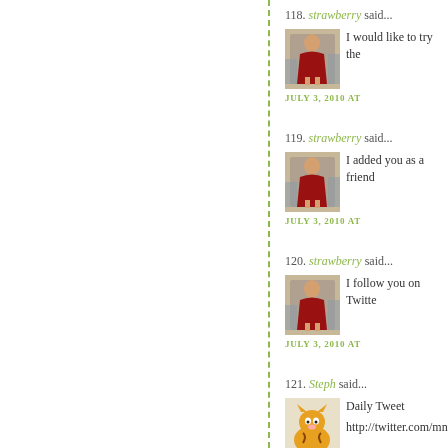118. strawberry said... I would like to try the JULY 3, 2010 AT
119. strawberry said... I added you as a friend JULY 3, 2010 AT
120. strawberry said... I follow you on Twitte JULY 3, 2010 AT
121. Steph said... Daily Tweet http://twitter.com/mns JULY 4, 2010 AT